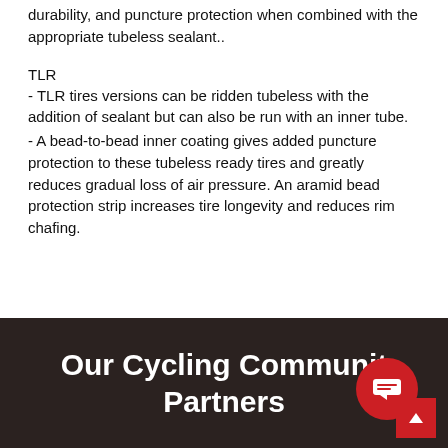durability, and puncture protection when combined with the appropriate tubeless sealant..
TLR
- TLR tires versions can be ridden tubeless with the addition of sealant but can also be run with an inner tube.
- A bead-to-bead inner coating gives added puncture protection to these tubeless ready tires and greatly reduces gradual loss of air pressure. An aramid bead protection strip increases tire longevity and reduces rim chafing.
Our Cycling Community Partners